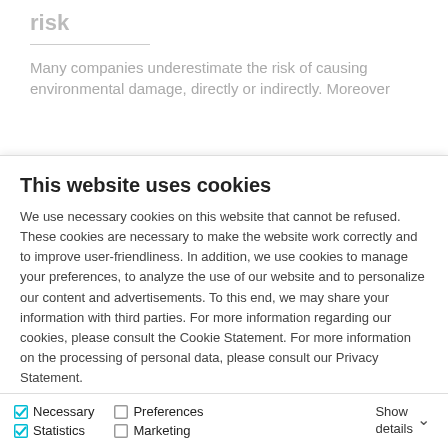risk
Many companies underestimate the risk of causing environmental damage, directly or indirectly. Moreover
This website uses cookies
We use necessary cookies on this website that cannot be refused. These cookies are necessary to make the website work correctly and to improve user-friendliness. In addition, we use cookies to manage your preferences, to analyze the use of our website and to personalize our content and advertisements. To this end, we may share your information with third parties. For more information regarding our cookies, please consult the Cookie Statement. For more information on the processing of personal data, please consult our Privacy Statement.
Cookies
Privacy policy
Allow all cookies
Allow selection
Use necessary cookies only
Necessary  Preferences  Statistics  Marketing  Show details